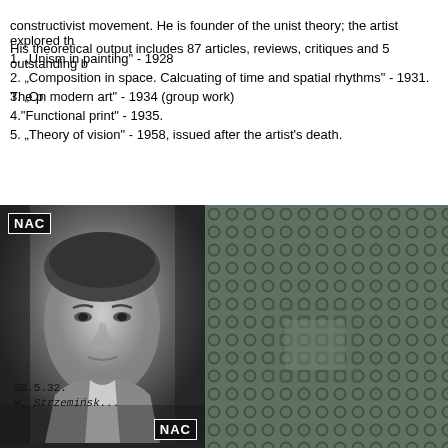constructivist movement. He is founder of the unist theory; the artist explored th
His theoretical output includes 87 articles, reviews, critiques and 5 outstanding b
1. „Unism in painting" - 1928
2. „Composition in space. Calcuating of time and spatial rhythms" - 1931. The p
3. „On modern art" - 1934 (group work)
4."Functional print" - 1935.
5. „Theory of vision" - 1958, issued after the artist's death.
[Figure (photo): Black and white portrait photograph of a man, labeled NAC, dated 30.5.32 with handwritten signature W. Strzeminski]
[Figure (photo): Close-up texture photograph showing a pattern of small circular and square embossed shapes on a dark green-grey surface]